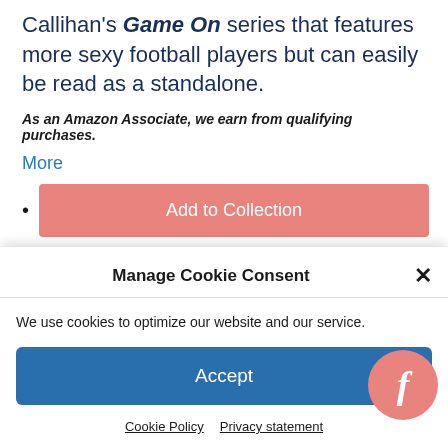Callihan's Game On series that features more sexy football players but can easily be read as a standalone.
As an Amazon Associate, we earn from qualifying purchases.
More
Add to Collection
Report
Manage Cookie Consent
We use cookies to optimize our website and our service.
Accept
Cookie Policy   Privacy statement